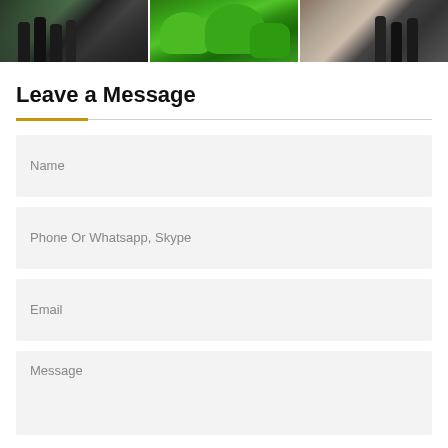[Figure (photo): Three side-by-side photos: left shows people in formal clothing in a green-accented indoor setting, center shows bright green modern furniture/seating, right shows people standing in an indoor space.]
Leave a Message
Name
Phone Or Whatsapp, Skype
Email
Message